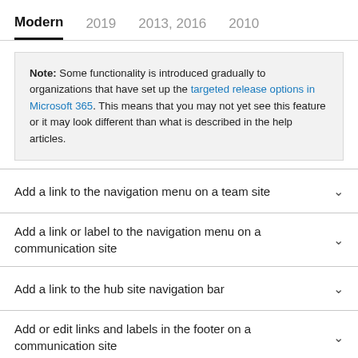Modern | 2019 | 2013, 2016 | 2010
Note: Some functionality is introduced gradually to organizations that have set up the targeted release options in Microsoft 365. This means that you may not yet see this feature or it may look different than what is described in the help articles.
Add a link to the navigation menu on a team site
Add a link or label to the navigation menu on a communication site
Add a link to the hub site navigation bar
Add or edit links and labels in the footer on a communication site